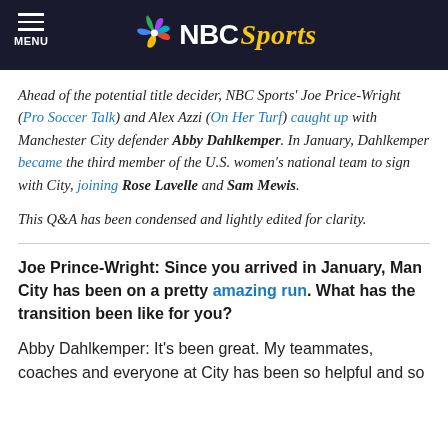MENU | NBC Sports
Ahead of the potential title decider, NBC Sports' Joe Price-Wright (Pro Soccer Talk) and Alex Azzi (On Her Turf) caught up with Manchester City defender Abby Dahlkemper. In January, Dahlkemper became the third member of the U.S. women's national team to sign with City, joining Rose Lavelle and Sam Mewis.
This Q&A has been condensed and lightly edited for clarity.
Joe Prince-Wright: Since you arrived in January, Man City has been on a pretty amazing run. What has the transition been like for you?
Abby Dahlkemper: It's been great. My teammates, coaches and everyone at City has been so helpful and so